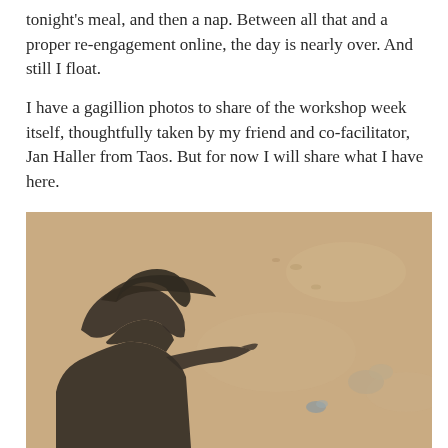tonight's meal, and then a nap.  Between all that and a proper re-engagement online, the day is nearly over.  And still I float.

I have a gagillion photos to share of the workshop week itself, thoughtfully taken by my friend and co-facilitator, Jan Haller from Taos.  But for now I will share what I have here.
[Figure (photo): A shadow of a person wearing a wide-brimmed hat cast on sandy ground, photographed from above. The shadow is dark and bold against the light tan/beige sand which has small pebbles and debris scattered across it.]